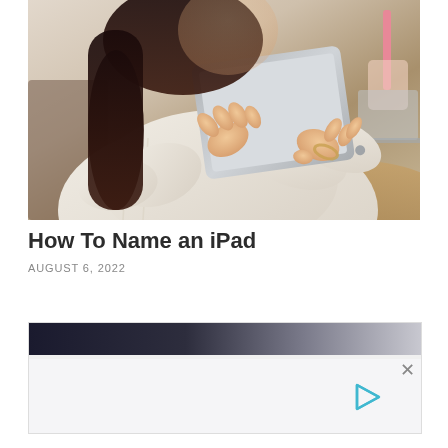[Figure (photo): A woman with dark hair wearing a white sweater, holding and using a tablet/iPad with both hands, seated at a wooden table. Background is blurred showing a cafe-like setting.]
How To Name an iPad
AUGUST 6, 2022
[Figure (screenshot): An advertisement banner with a dark gradient bar at the top and a light gray body area. Contains a close (X) button and a play button icon in teal/cyan color.]